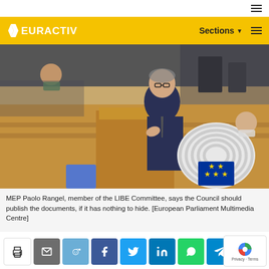EURACTIV — Sections menu
[Figure (photo): MEP Paolo Rangel speaking at a podium in the European Parliament chamber, wearing a dark suit and glasses, with the European Parliament logo visible in the background. Other masked attendees are visible in the chamber.]
MEP Paolo Rangel, member of the LIBE Committee, says the Council should publish the documents, if it has nothing to hide. [European Parliament Multimedia Centre]
Social sharing buttons: print, email, reddit, facebook, twitter, linkedin, whatsapp, telegram